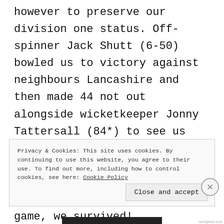however to preserve our division one status. Off-spinner Jack Shutt (6-50) bowled us to victory against neighbours Lancashire and then made 44 not out alongside wicketkeeper Jonny Tattersall (84*) to see us over the line against Hampshire when under huge pressure. Despite losing against Surrey in our final game, we survived!
Privacy & Cookies: This site uses cookies. By continuing to use this website, you agree to their use. To find out more, including how to control cookies, see here: Cookie Policy
Close and accept